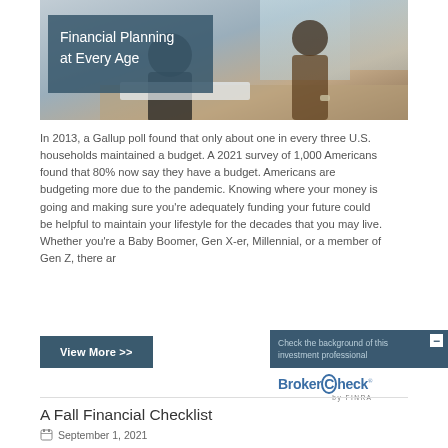[Figure (photo): Photo of two people at a desk reviewing financial documents, with a blue overlay panel showing the text 'Financial Planning at Every Age']
Financial Planning at Every Age
In 2013, a Gallup poll found that only about one in every three U.S. households maintained a budget. A 2021 survey of 1,000 Americans found that 80% now say they have a budget. Americans are budgeting more due to the pandemic. Knowing where your money is going and making sure you're adequately funding your future could be helpful to maintain your lifestyle for the decades that you may live. Whether you're a Baby Boomer, Gen X-er, Millennial, or a member of Gen Z, there ar
View More >>
[Figure (logo): BrokerCheck by FINRA widget with text 'Check the background of this investment professional' and BrokerCheck logo]
A Fall Financial Checklist
September 1, 2021